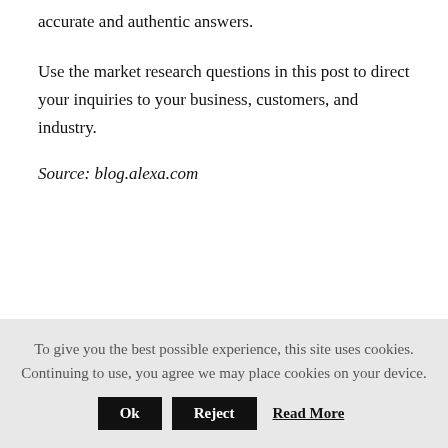accurate and authentic answers.
Use the market research questions in this post to direct your inquiries to your business, customers, and industry.
Source: blog.alexa.com
← Previous Post
Industry Analysis Using Porter's Five
To give you the best possible experience, this site uses cookies. Continuing to use, you agree we may place cookies on your device. Ok Reject Read More